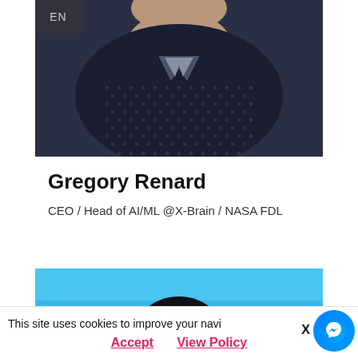[Figure (photo): Cropped profile photo of Gregory Renard wearing a dark navy dotted shirt, with 'EN' badge overlay in top-left corner]
Gregory Renard
CEO / Head of AI/ML @X-Brain / NASA FDL
[Figure (photo): Partial profile photo of a second person with a bright blue background, only the top of their head visible]
This site uses cookies to improve your navi
Accept   View Policy